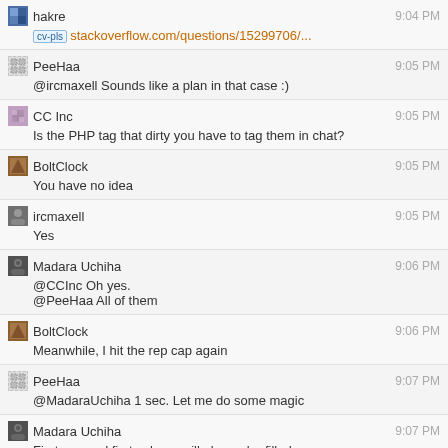hakre 9:04 PM cv-pls stackoverflow.com/questions/15299706/...
PeeHaa 9:05 PM @ircmaxell Sounds like a plan in that case :)
CC Inc 9:05 PM Is the PHP tag that dirty you have to tag them in chat?
BoltClock 9:05 PM You have no idea
ircmaxell 9:05 PM Yes
Madara Uchiha 9:06 PM @CCInc Oh yes. @PeeHaa All of them
BoltClock 9:06 PM Meanwhile, I hit the rep cap again
PeeHaa 9:07 PM @MadaraUchiha 1 sec. Let me do some magic
Madara Uchiha 9:07 PM First row and first column will always be filled